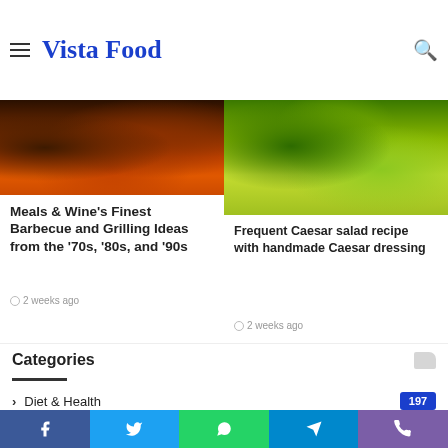Vista Food
[Figure (photo): Food collage header with fruits and dishes]
[Figure (photo): Grilled sausages and colorful vegetables barbecue photo]
Meals & Wine's Finest Barbecue and Grilling Ideas from the '70s, '80s, and '90s
2 weeks ago
[Figure (photo): Caesar salad with fresh green lettuce and dressing]
Frequent Caesar salad recipe with handmade Caesar dressing
2 weeks ago
Categories
Diet & Health — 197
Wedding Dresses — 1
Fish